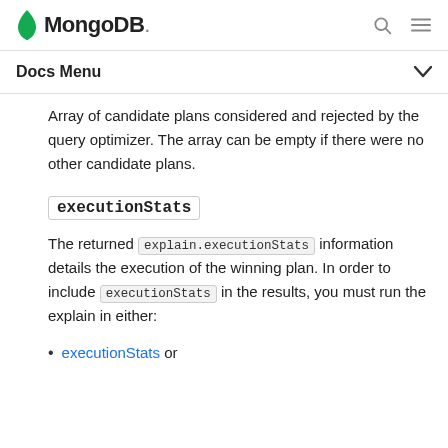MongoDB.
Docs Menu
Array of candidate plans considered and rejected by the query optimizer. The array can be empty if there were no other candidate plans.
executionStats
The returned explain.executionStats information details the execution of the winning plan. In order to include executionStats in the results, you must run the explain in either:
executionStats or